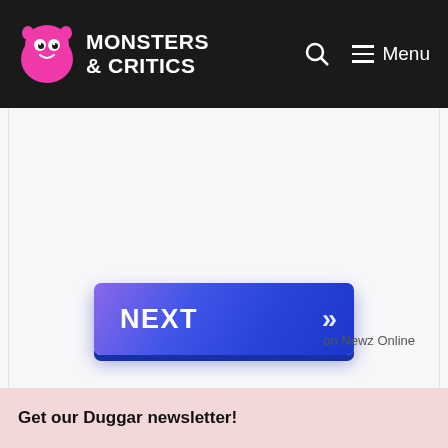Monsters & Critics — Menu
[Figure (other): Blue gradient NEXT button with double chevron arrow]
on Newz Online
Get our Duggar newsletter!